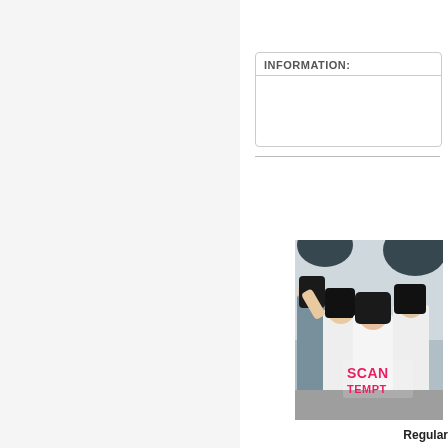INFORMATION:
[Figure (photo): Album cover photo showing four young women with dark hair in white outfits, with pink text reading SCANDAL TEMPTATION]
Regular